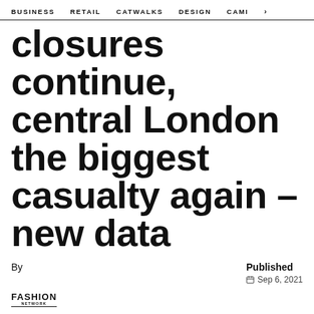BUSINESS   RETAIL   CATWALKS   DESIGN   CAMI  >
closures continue, central London the biggest casualty again – new data
By
Published
Sep 6, 2021
[Figure (logo): FASHION NETWORK logo]
Nigel TAYLOR